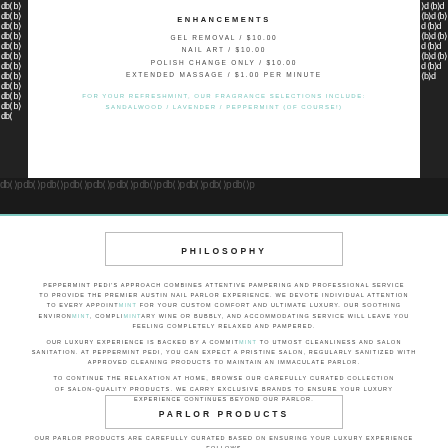ENHANCEMENTS
GEL REMOVAL / $10.00
NAIL ART / $10.00
POLISH CHANGE ONLY / $10.00
EXTENDED MASSAGE / $1.00 PER MINUTE
FOR YOUR REFRESHMINT, OUR FRAGRANCE SELECTIONS INCLUDE: SANDALWOOD / LAVENDER / PEPPERMINT (OF COURSE!)
PHILOSOPHY
PEPPERMINT PEDI'S APPROACH COMBINES ATTENTIVE PAMPERING AND PROFESSIONAL SERVICE TO PROVIDE THE PREMIER AUSTIN NAIL PARLOR EXPERIENCE. WE DEVOTE INDIVIDUAL ATTENTION TO EVERY APPOINTMINT FOR YOUR CUSTOM COMFORT AND ULTIMATE LUXURY. OUR SOOTHING ENVIRONMENT, COMPLIMINTARY WINE OR BUBBLY, AND ACCOMMODATING SERVICE WILL LEAVE YOU FEELING COMPLETELY RELAXED AND PAMPERED.
OUR LUXURY EXPERIENCE IS BACKED BY A COMMITMINT TO UTMOST CLEANLINESS AND SALON SANITATION. AT PEPPERMINT PEDI, YOU CAN EXPECT A PRISTINE SALON, REGULARLY SANITIZED WITH APPROVED CLEANING PRODUCTS TO MAINTAIN AN IMMACULATE PARLOR.
TO CONTINUE THE RELAXATION AT HOME, BROWSE OUR CAREFULLY CURATED COLLECTION OF SALON-QUALITY PRODUCTS. WE CARRY EXCLUSIVE BRANDS TO ENSURE YOUR LUXURY EXPERIENCE CONTINUES BEYOND OUR PARLOR.
PARLOR PRODUCTS
OUR PARLOR PRODUCTS ARE CAREFULLY BASED ON ENSURING YOUR LUXURY EXPERIENCE FOLLOWS YOU HOME.